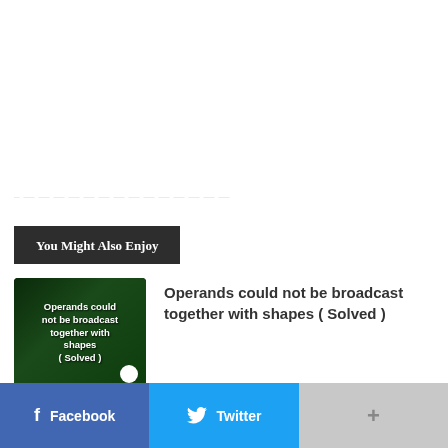You Might Also Enjoy
[Figure (screenshot): Thumbnail image showing text: Operands could not be broadcast together with shapes ( Solved ) on a dark green code background]
Operands could not be broadcast together with shapes ( Solved )
Facebook
Twitter
+